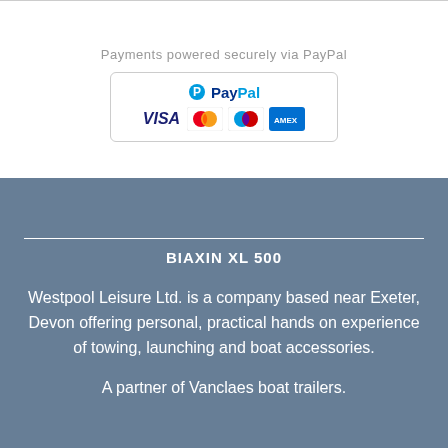Payments powered securely via PayPal
[Figure (logo): PayPal payment logo box showing PayPal logo, VISA, Mastercard, Maestro, and American Express card icons]
BIAXIN XL 500
Westpool Leisure Ltd. is a company based near Exeter, Devon offering personal, practical hands on experience of towing, launching and boat accessories.
A partner of Vanclaes boat trailers.